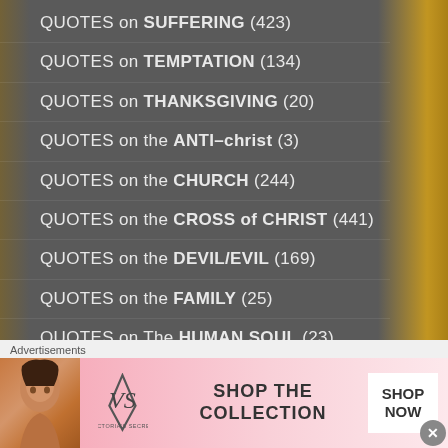QUOTES on SUFFERING (423)
QUOTES on TEMPTATION (134)
QUOTES on THANKSGIVING (20)
QUOTES on the ANTI–christ (3)
QUOTES on the CHURCH (244)
QUOTES on the CROSS of CHRIST (441)
QUOTES on the DEVIL/EVIL (169)
QUOTES on the FAMILY (25)
QUOTES on The HUMAN SOUL (23)
QUOTES on THE LIGHT of CHRIST (207)
Advertisements
[Figure (photo): Victoria's Secret advertisement banner with a woman's photo, VS logo, 'SHOP THE COLLECTION' text, and 'SHOP NOW' button]